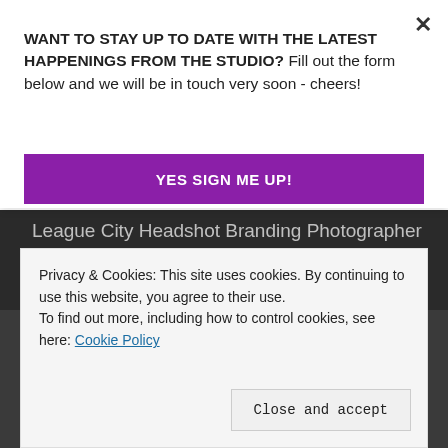WANT TO STAY UP TO DATE WITH THE LATEST HAPPENINGS FROM THE STUDIO? Fill out the form below and we will be in touch very soon - cheers!
YES SIGN ME UP!
League City Headshot Branding Photographer
[Figure (photo): Dark background area with photo strip thumbnails at the bottom]
Privacy & Cookies: This site uses cookies. By continuing to use this website, you agree to their use.
To find out more, including how to control cookies, see here: Cookie Policy
Close and accept